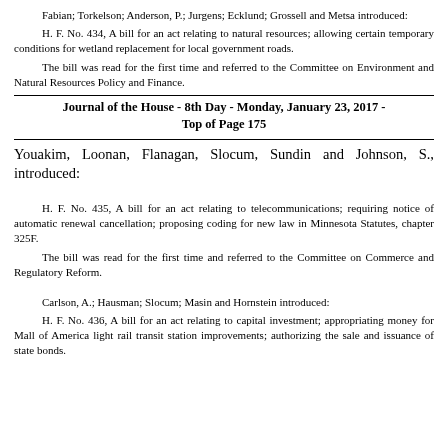Fabian; Torkelson; Anderson, P.; Jurgens; Ecklund; Grossell and Metsa introduced:
H. F. No. 434, A bill for an act relating to natural resources; allowing certain temporary conditions for wetland replacement for local government roads.
The bill was read for the first time and referred to the Committee on Environment and Natural Resources Policy and Finance.
Journal of the House - 8th Day - Monday, January 23, 2017 - Top of Page 175
Youakim, Loonan, Flanagan, Slocum, Sundin and Johnson, S., introduced:
H. F. No. 435, A bill for an act relating to telecommunications; requiring notice of automatic renewal cancellation; proposing coding for new law in Minnesota Statutes, chapter 325F.
The bill was read for the first time and referred to the Committee on Commerce and Regulatory Reform.
Carlson, A.; Hausman; Slocum; Masin and Hornstein introduced:
H. F. No. 436, A bill for an act relating to capital investment; appropriating money for Mall of America light rail transit station improvements; authorizing the sale and issuance of state bonds.